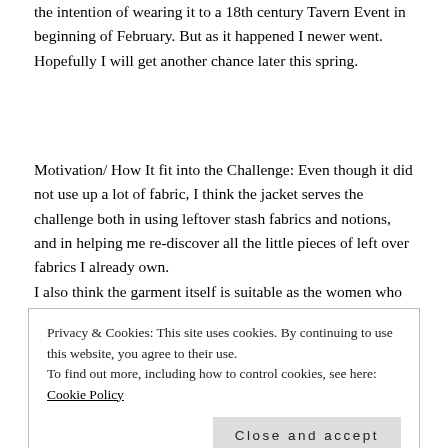the intention of wearing it to a 18th century Tavern Event in beginning of February. But as it happened I newer went. Hopefully I will get another chance later this spring.
Motivation/ How It fit into the Challenge: Even though it did not use up a lot of fabric, I think the jacket serves the challenge both in using leftover stash fabrics and notions, and in helping me re-discover all the little pieces of left over fabrics I already own.
I also think the garment itself is suitable as the women who wore such jackets would not be splurging on new fabrics.
Privacy & Cookies: This site uses cookies. By continuing to use this website, you agree to their use.
To find out more, including how to control cookies, see here: Cookie Policy
Close and accept